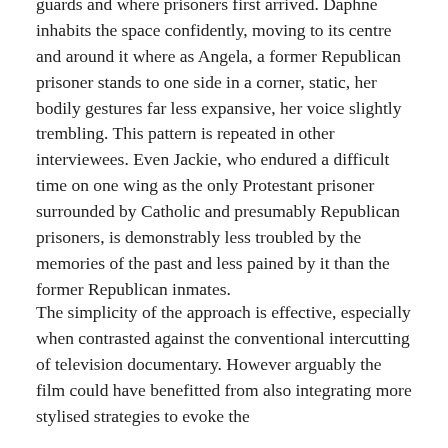guards and where prisoners first arrived. Daphne inhabits the space confidently, moving to its centre and around it where as Angela, a former Republican prisoner stands to one side in a corner, static, her bodily gestures far less expansive, her voice slightly trembling. This pattern is repeated in other interviewees. Even Jackie, who endured a difficult time on one wing as the only Protestant prisoner surrounded by Catholic and presumably Republican prisoners, is demonstrably less troubled by the memories of the past and less pained by it than the former Republican inmates.
The simplicity of the approach is effective, especially when contrasted against the conventional intercutting of television documentary. However arguably the film could have benefitted from also integrating more stylised strategies to evoke the